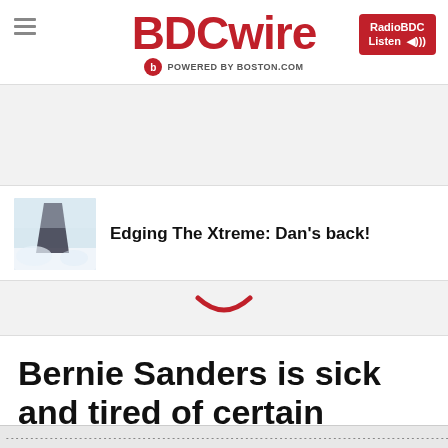BDCwire — POWERED BY BOSTON.COM
[Figure (photo): Thumbnail image of snowy/icy scene for Edging The Xtreme promo]
Edging The Xtreme: Dan's back!
Bernie Sanders is sick and tired of certain campaign trail questions
scrolling text bar at bottom of page